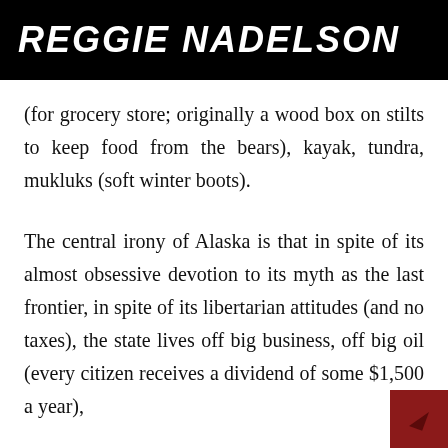REGGIE NADELSON
(for grocery store; originally a wood box on stilts to keep food from the bears), kayak, tundra, mukluks (soft winter boots).
The central irony of Alaska is that in spite of its almost obsessive devotion to its myth as the last frontier, in spite of its libertarian attitudes (and no taxes), the state lives off big business, off big oil (every citizen receives a dividend of some $1,500 a year),